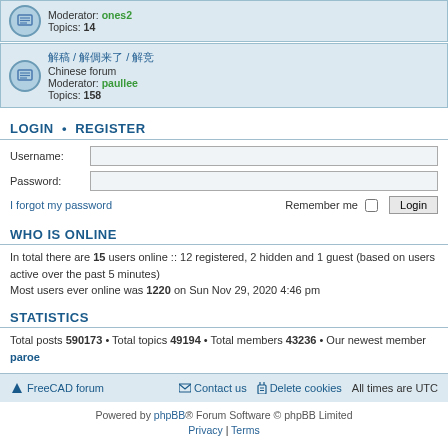Moderator: ones2
Topics: 14
Chinese forum
Moderator: paullee
Topics: 158
LOGIN • REGISTER
Username:
Password:
I forgot my password    Remember me   Login
WHO IS ONLINE
In total there are 15 users online :: 12 registered, 2 hidden and 1 guest (based on users active over the past 5 minutes)
Most users ever online was 1220 on Sun Nov 29, 2020 4:46 pm
STATISTICS
Total posts 590173 • Total topics 49194 • Total members 43236 • Our newest member paroe
FreeCAD forum   Contact us   Delete cookies   All times are UTC
Powered by phpBB® Forum Software © phpBB Limited
Privacy | Terms